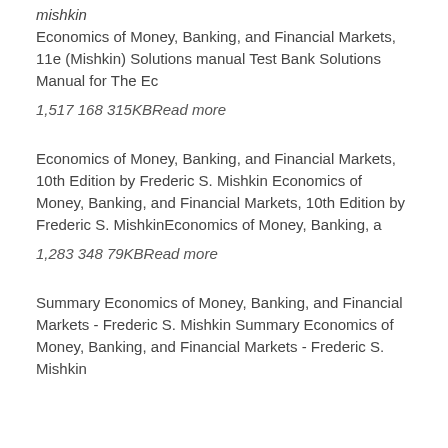Mishkin
Economics of Money, Banking, and Financial Markets, 11e (Mishkin) Solutions manual Test Bank Solutions Manual for The Ec
1,517 168 315KBRead more
Economics of Money, Banking, and Financial Markets, 10th Edition by Frederic S. Mishkin Economics of Money, Banking, and Financial Markets, 10th Edition by Frederic S. MishkinEconomics of Money, Banking, a
1,283 348 79KBRead more
Summary Economics of Money, Banking, and Financial Markets - Frederic S. Mishkin Summary Economics of Money, Banking, and Financial Markets - Frederic S. Mishkin